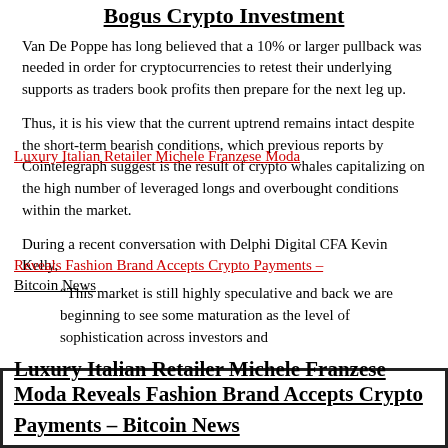Bogus Crypto Investment
Van De Poppe has long believed that a 10% or larger pullback was needed in order for cryptocurrencies to retest their underlying supports as traders book profits then prepare for the next leg up.
Thus, it is his view that the current uptrend remains intact despite the short-term bearish conditions, which previous reports by Cointelegraph suggest is the result of crypto whales capitalizing on the high number of leveraged longs and overbought conditions within the market.
During a recent conversation with Delphi Digital CFA Kevin Kelly,
“This market is still highly speculative and back we are beginning to see some maturation as the level of sophistication across investors and
[Figure (screenshot): Black-bordered image box at bottom of page]